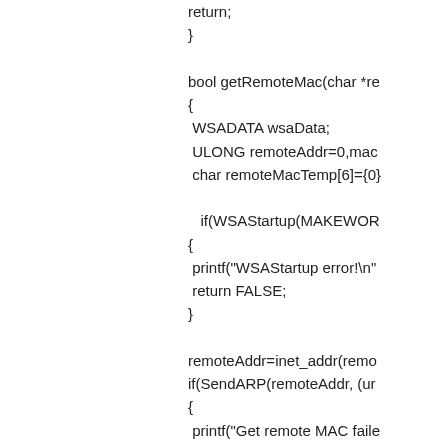return;
}
bool getRemoteMac(char *re
{
 WSADATA wsaData;
 ULONG remoteAddr=0,mac
 char remoteMacTemp[6]={0}

   if(WSAStartup(MAKEWOR
{
 printf("WSAStartup error!\n"
 return FALSE;
}

remoteAddr=inet_addr(remo
if(SendARP(remoteAddr, (ur
{
 printf("Get remote MAC faile
 return FALSE;
}